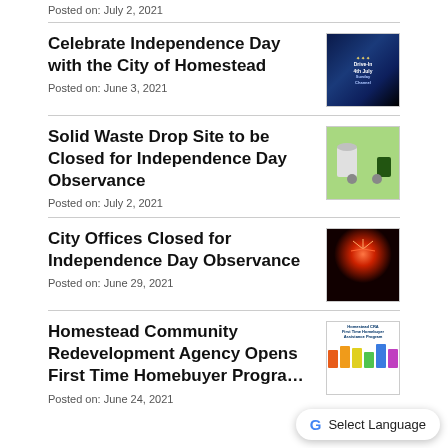Posted on: July 2, 2021
Celebrate Independence Day with the City of Homestead
Posted on: June 3, 2021
[Figure (photo): Drive-In 4th of July event promotional image with dark blue background and stars]
Solid Waste Drop Site to be Closed for Independence Day Observance
Posted on: July 2, 2021
[Figure (photo): Person outdoors near waste drop site with greenery in background]
City Offices Closed for Independence Day Observance
Posted on: June 29, 2021
[Figure (photo): Fireworks against dark night sky]
Homestead Community Redevelopment Agency Opens First Time Homebuyer Program
Posted on: June 24, 2021
[Figure (photo): Homestead CRA First Time Homebuyer Program graphic with colorful house illustrations]